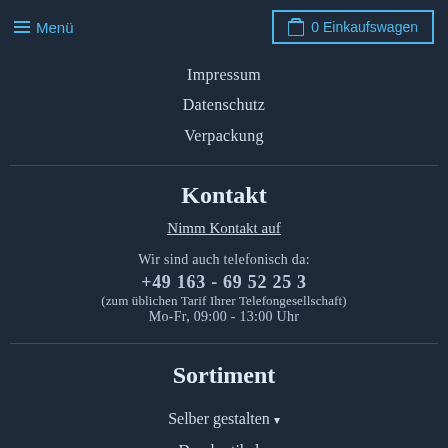≡ Menü   0 Einkaufswagen
Impressum
Datenschutz
Verpackung
Kontakt
Nimm Kontakt auf
Wir sind auch telefonisch da:
+49 163 - 69 52 25 3
(zum üblichen Tarif Ihrer Telefongesellschaft)
Mo-Fr, 09:00 - 13:00 Uhr
Sortiment
Selber gestalten ▾
Druckartikel ▾